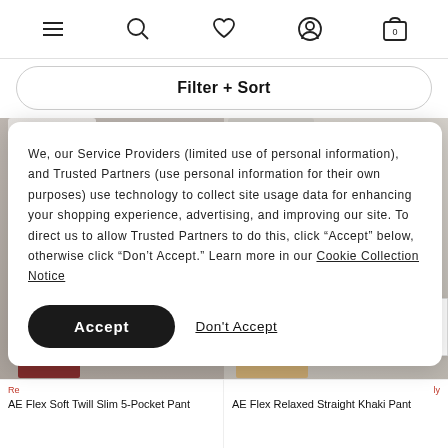Navigation header with menu, search, wishlist, account, and cart icons
Filter + Sort
[Figure (photo): Two product photos side by side: left shows a male model wearing a white shirt and dark red slim pants; right shows a male model wearing a light grey shirt and khaki relaxed pants]
We, our Service Providers (limited use of personal information), and Trusted Partners (use personal information for their own purposes) use technology to collect site usage data for enhancing your shopping experience, advertising, and improving our site. To direct us to allow Trusted Partners to do this, click “Accept” below, otherwise click “Don’t Accept.” Learn more in our Cookie Collection Notice
Accept
Don't Accept
AE Flex Soft Twill Slim 5-Pocket Pant
AE Flex Relaxed Straight Khaki Pant